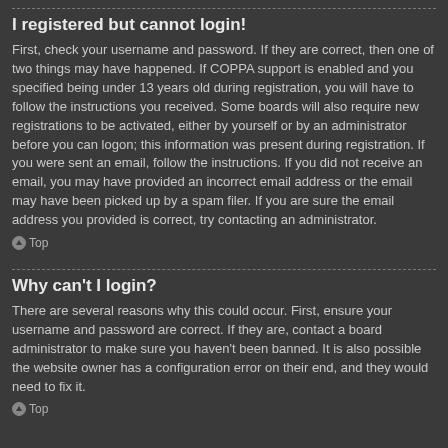I registered but cannot login!
First, check your username and password. If they are correct, then one of two things may have happened. If COPPA support is enabled and you specified being under 13 years old during registration, you will have to follow the instructions you received. Some boards will also require new registrations to be activated, either by yourself or by an administrator before you can logon; this information was present during registration. If you were sent an email, follow the instructions. If you did not receive an email, you may have provided an incorrect email address or the email may have been picked up by a spam filer. If you are sure the email address you provided is correct, try contacting an administrator.
Top
Why can't I login?
There are several reasons why this could occur. First, ensure your username and password are correct. If they are, contact a board administrator to make sure you haven't been banned. It is also possible the website owner has a configuration error on their end, and they would need to fix it.
Top